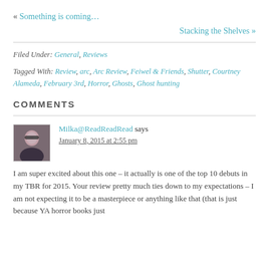« Something is coming…
Stacking the Shelves »
Filed Under: General, Reviews
Tagged With: Review, arc, Arc Review, Feiwel & Friends, Shutter, Courtney Alameda, February 3rd, Horror, Ghosts, Ghost hunting
COMMENTS
Milka@ReadReadRead says
January 8, 2015 at 2:55 pm
I am super excited about this one – it actually is one of the top 10 debuts in my TBR for 2015. Your review pretty much ties down to my expectations – I am not expecting it to be a masterpiece or anything like that (that is just because YA horror books just